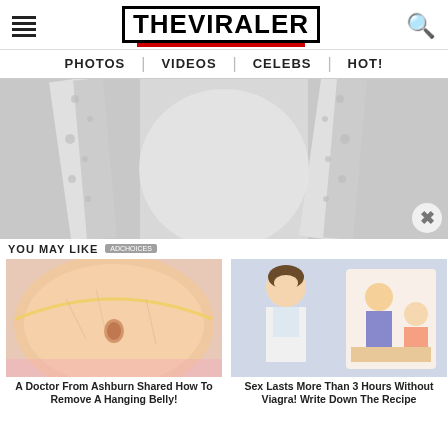THE VIRALER — PHOTOS | VIDEOS | CELEBS | HOT!
[Figure (photo): Black and white close-up photo of a person's torso wearing a light-colored top with patterned straps/suspenders crossing over]
YOU MAY LIKE
[Figure (photo): Close-up photo of a person's belly with a measuring tape wrapped around it]
A Doctor From Ashburn Shared How To Remove A Hanging Belly!
[Figure (illustration): Doctor and illustration of a couple; advertisement for medication]
Sex Lasts More Than 3 Hours Without Viagra! Write Down The Recipe